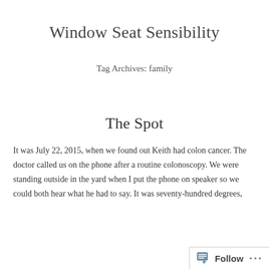Window Seat Sensibility
Tag Archives: family
The Spot
It was July 22, 2015, when we found out Keith had colon cancer. The doctor called us on the phone after a routine colonoscopy. We were standing outside in the yard when I put the phone on speaker so we could both hear what he had to say. It was seventy-hundred degrees,
Follow ...